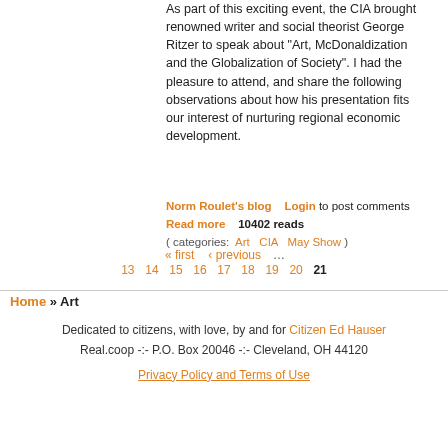As part of this exciting event, the CIA brought renowned writer and social theorist George Ritzer to speak about "Art, McDonaldization and the Globalization of Society". I had the pleasure to attend, and share the following observations about how his presentation fits our interest of nurturing regional economic development.
Norm Roulet's blog   Login to post comments   Read more   10402 reads   ( categories: Art   CIA   May Show )
« first  ‹ previous  …  13  14  15  16  17  18  19  20  21
Home » Art
Dedicated to citizens, with love, by and for Citizen Ed Hauser
Real.coop -:- P.O. Box 20046 -:- Cleveland, OH 44120
Privacy Policy and Terms of Use